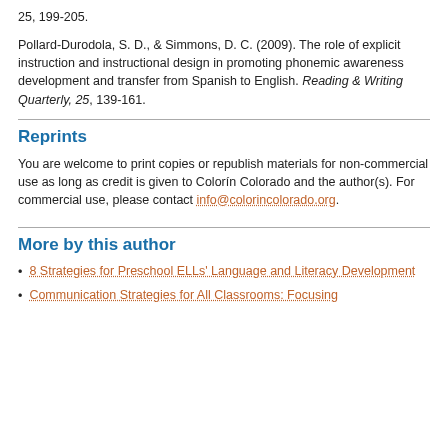25, 199-205.
Pollard-Durodola, S. D., & Simmons, D. C. (2009). The role of explicit instruction and instructional design in promoting phonemic awareness development and transfer from Spanish to English. Reading & Writing Quarterly, 25, 139-161.
Reprints
You are welcome to print copies or republish materials for non-commercial use as long as credit is given to Colorín Colorado and the author(s). For commercial use, please contact info@colorincolorado.org.
More by this author
8 Strategies for Preschool ELLs' Language and Literacy Development
Communication Strategies for All Classrooms: Focusing